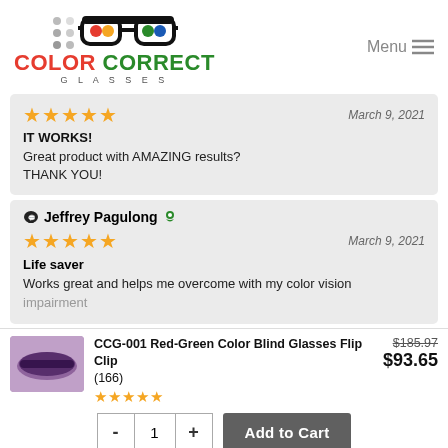[Figure (logo): Color Correct Glasses logo with colorful glasses icon and brand name]
Menu ≡
★★★★★  March 9, 2021
IT WORKS!
Great product with AMAZING results? THANK YOU!
💬 Jeffrey Pagulong 🏅
★★★★★  March 9, 2021
Life saver
Works great and helps me overcome with my color vision impairment
[Figure (photo): Product photo of CCG-001 Red-Green Color Blind Glasses Flip Clip]
CCG-001 Red-Green Color Blind Glasses Flip Clip
(166)
★★★★★
$185.97
$93.65
- 1 + Add to Cart